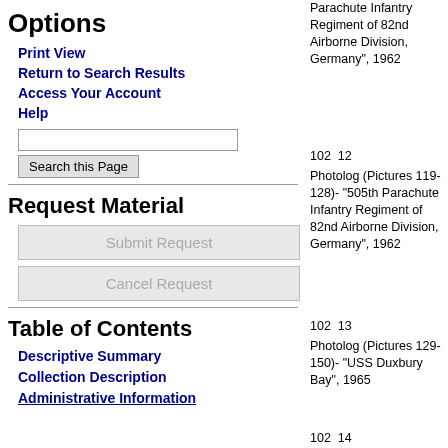Options
Print View
Return to Search Results
Access Your Account
Help
Request Material
Table of Contents
Descriptive Summary
Collection Description
Administrative Information
102  12   Parachute Infantry Regiment of 82nd Airborne Division, Germany", 1962
102  13   Photolog (Pictures 119-128)- "505th Parachute Infantry Regiment of 82nd Airborne Division, Germany", 1962
102  14   Photolog (Pictures 129-150)- "USS Duxbury Bay", 1965
Photolog (Pictures 151-158)- "USS Duxbury Bay-Sailors